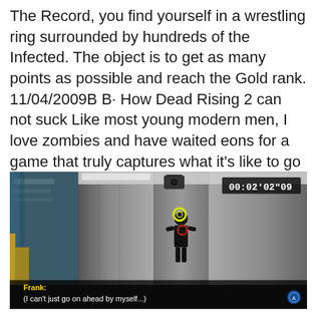The Record, you find yourself in a wrestling ring surrounded by hundreds of the Infected. The object is to get as many points as possible and reach the Gold rank. 11/04/2009В В· How Dead Rising 2 can not suck Like most young modern men, I love zombies and have waited eons for a game that truly captures what it's like to go вЂ¦
[Figure (screenshot): Screenshot from Dead Rising video game showing an elevator interior with a character. HUD shows timer 00:02'02"09. Subtitle bar at bottom reads Frank: (I can't just go on ahead by myself...)]